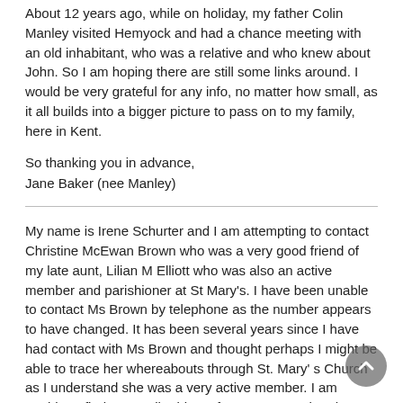About 12 years ago, while on holiday, my father Colin Manley visited Hemyock and had a chance meeting with an old inhabitant, who was a relative and who knew about John. So I am hoping there are still some links around. I would be very grateful for any info, no matter how small, as it all builds into a bigger picture to pass on to my family, here in Kent.
So thanking you in advance,
Jane Baker (nee Manley)
My name is Irene Schurter and I am attempting to contact Christine McEwan Brown who was a very good friend of my late aunt, Lilian M Elliott who was also an active member and parishioner at St Mary's. I have been unable to contact Ms Brown by telephone as the number appears to have changed. It has been several years since I have had contact with Ms Brown and thought perhaps I might be able to trace her whereabouts through St. Mary' s Church as I understand she was a very active member. I am unable to find an email address for St. Mary's Church on this website and thought perhaps you might be of assistance to me in this regard.